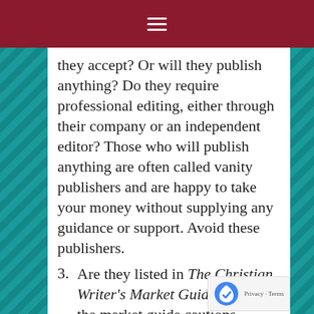≡
they accept? Or will they publish anything? Do they require professional editing, either through their company or an independent editor? Those who will publish anything are often called vanity publishers and are happy to take your money without supplying any guidance or support. Avoid these publishers.
Are they listed in The Christian Writer's Market Guide? While the market guide cautions authors to be careful, I'm sure they avoid listing any publisher that has a bad reputation. The introduction to that section says